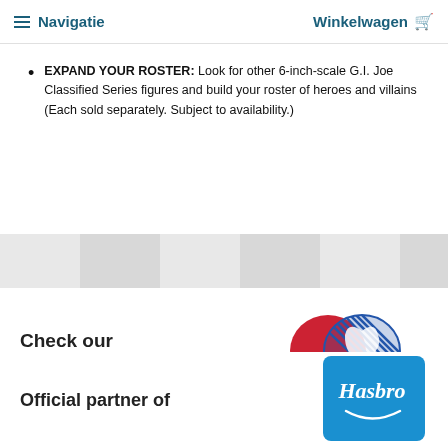≡ Navigatie   Winkelwagen 🛒
EXPAND YOUR ROSTER: Look for other 6-inch-scale G.I. Joe Classified Series figures and build your roster of heroes and villains (Each sold separately. Subject to availability.)
Check our other webshop
[Figure (logo): Tcg-boardgames logo — two overlapping speech bubble shapes in red and blue/hatched, with text 'Tcg-boardgames' below]
Official partner of
[Figure (logo): Hasbro logo on blue background, partially visible at bottom right]